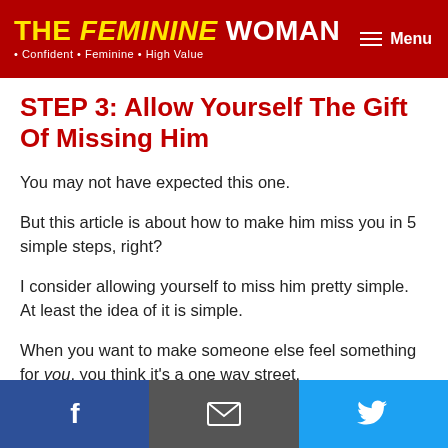THE FEMININE WOMAN · Confident · Feminine · High Value
STEP 3: Allow Yourself The Gift Of Missing Him
You may not have expected this one.
But this article is about how to make him miss you in 5 simple steps, right?
I consider allowing yourself to miss him pretty simple. At least the idea of it is simple.
When you want to make someone else feel something for you, you think it's a one way street.